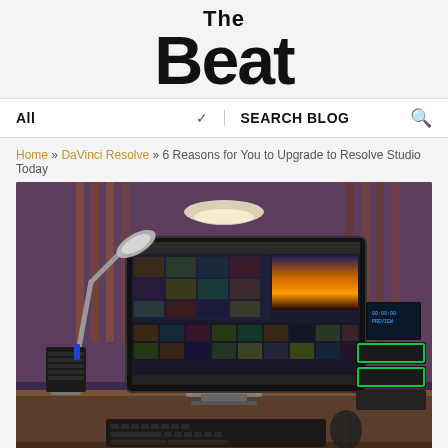The Beat
All  ∨  SEARCH BLOG  🔍
Home » DaVinci Resolve » 6 Reasons for You to Upgrade to Resolve Studio Today
[Figure (photo): A DaVinci Resolve editing workstation setup on a desk in a dimly lit studio. A large monitor displays the DaVinci Resolve Media page with video thumbnails and a sunset image. On the right side are Blackmagic Design hardware control panels with green LED indicators. A desk lamp, keyboard, mouse, and storage drives are also visible.]